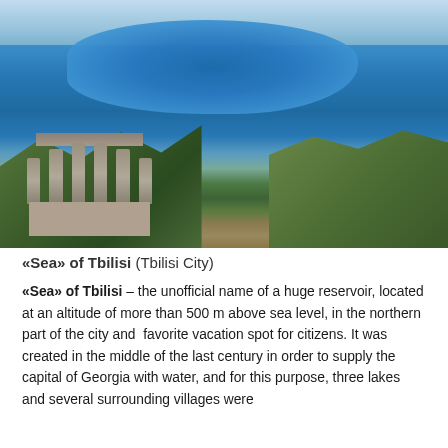[Figure (photo): Aerial photograph of the Tbilisi Sea reservoir, a large blue lake surrounded by hills and forested terrain, with a monument with stone columns visible in the foreground lower left, and city buildings visible in the top right background.]
«Sea» of Tbilisi (Tbilisi City)
«Sea» of Tbilisi – the unofficial name of a huge reservoir, located at an altitude of more than 500 m above sea level, in the northern part of the city and favorite vacation spot for citizens. It was created in the middle of the last century in order to supply the capital of Georgia with water, and for this purpose, three lakes and several surrounding villages were